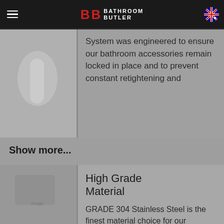Bathroom Butler
System was engineered to ensure our bathroom accessories remain locked in place and to prevent constant retightening and
Show more...
High Grade Material
GRADE 304 Stainless Steel is the finest material choice for our bathroom accessories because its natural corrosion